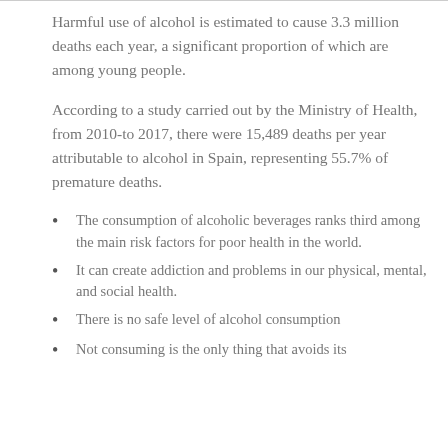Harmful use of alcohol is estimated to cause 3.3 million deaths each year, a significant proportion of which are among young people.
According to a study carried out by the Ministry of Health, from 2010-to 2017, there were 15,489 deaths per year attributable to alcohol in Spain, representing 55.7% of premature deaths.
The consumption of alcoholic beverages ranks third among the main risk factors for poor health in the world.
It can create addiction and problems in our physical, mental, and social health.
There is no safe level of alcohol consumption
Not consuming is the only thing that avoids its harmful effects.